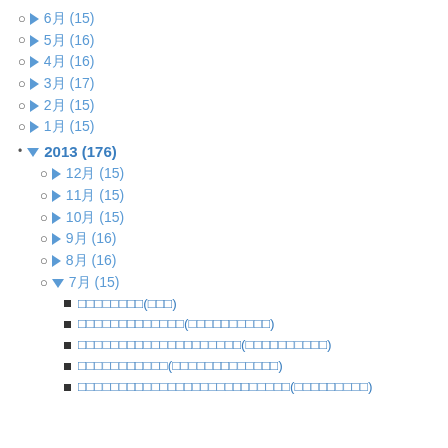6月 (15)
5月 (16)
4月 (16)
3月 (17)
2月 (15)
1月 (15)
2013 (176)
12月 (15)
11月 (15)
10月 (15)
9月 (16)
8月 (16)
7月 (15)
□□□□□□□□(□□□)
□□□□□□□□□□□□□(□□□□□□□□□□)
□□□□□□□□□□□□□□□□□□□□(□□□□□□□□□□)
□□□□□□□□□□□(□□□□□□□□□□□□□)
□□□□□□□□□□□□□□□□□□□□□□□□□□(□□□□□□□□□)